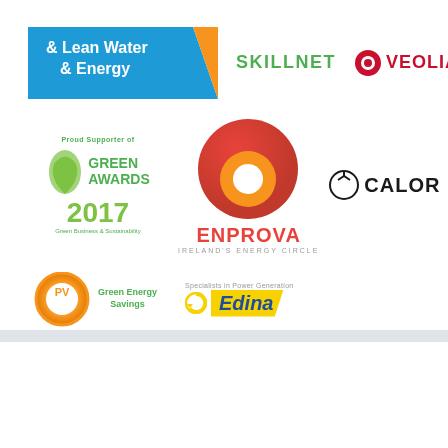[Figure (logo): Lean Water & Energy Skillnet logo with blue banner and orange chevron]
[Figure (logo): SKILLNET text logo in green]
[Figure (logo): VEOLIA logo in red with circular icon]
[Figure (logo): Green Awards 2017 - Proud Supporter of Green Business & Sustainability logo with green hand]
[Figure (logo): ENPROVA Ireland's Energy Circle - red and orange sphere logo]
[Figure (logo): CALOR logo with power button icon]
[Figure (logo): PV Green Energy Savings circular logo]
[Figure (logo): Edina - Specialists in Power Generation logo in blue and yellow]
Categories
Emissions